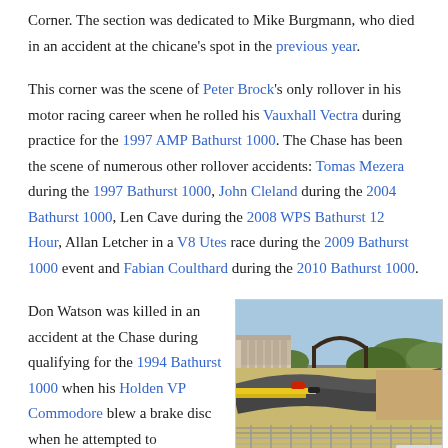Corner. The section was dedicated to Mike Burgmann, who died in an accident at the chicane's spot in the previous year.
This corner was the scene of Peter Brock's only rollover in his motor racing career when he rolled his Vauxhall Vectra during practice for the 1997 AMP Bathurst 1000. The Chase has been the scene of numerous other rollover accidents: Tomas Mezera during the 1997 Bathurst 1000, John Cleland during the 2004 Bathurst 1000, Len Cave during the 2008 WPS Bathurst 12 Hour, Allan Letcher in a V8 Utes race during the 2009 Bathurst 1000 event and Fabian Coulthard during the 2010 Bathurst 1000.
Don Watson was killed in an accident at the Chase during qualifying for the 1994 Bathurst 1000 when his Holden VP Commodore blew a brake disc when he attempted to
[Figure (photo): Aerial/trackside view of the Chase section of the Bathurst Mount Panorama racing circuit, showing cars on the winding circuit with grandstands and trees in background.]